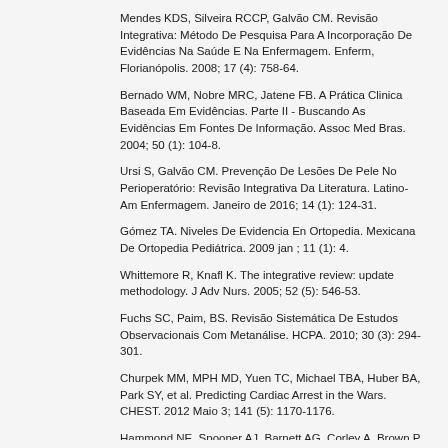Mendes KDS, Silveira RCCP, Galvão CM. Revisão Integrativa: Método De Pesquisa Para A Incorporação De Evidências Na Saúde E Na Enfermagem. Enferm, Florianópolis. 2008; 17 (4): 758-64.
Bernado WM, Nobre MRC, Jatene FB. A Prática Clinica Baseada Em Evidências. Parte II - Buscando As Evidências Em Fontes De Informação. Assoc Med Bras. 2004; 50 (1): 104-8.
Ursi S, Galvão CM. Prevenção De Lesões De Pele No Perioperatório: Revisão Integrativa Da Literatura. Latino-Am Enfermagem. Janeiro de 2016; 14 (1): 124-31.
Gómez TA. Niveles De Evidencia En Ortopedia. Mexicana De Ortopedia Pediátrica. 2009 jan ; 11 (1): 4.
Whittemore R, Knafl K. The integrative review: update methodology. J Adv Nurs. 2005; 52 (5): 546-53.
Fuchs SC, Paim, BS. Revisão Sistemática De Estudos Observacionais Com Metanálise. HCPA. 2010; 30 (3): 294-301.
Churpek MM, MPH MD, Yuen TC, Michael TBA, Huber BA, Park SY, et al. Predicting Cardiac Arrest in the Wars. CHEST. 2012 Maio 3; 141 (5): 1170-1176.
Hammond NE, Spooner AJ, Barnett AG, Corley A, Brown P, Fraser JF. The effect of implementing a modified early warning scoring (MEWS) system on the adequacy of vital sign documentation. Australian Critical Care. 2012 abr 26 2012; 26, 18–22.
Ludikhuize J, Smorenburg SM, Rooij SE, Jonge E. Identification of deteriorating patients on general wards;